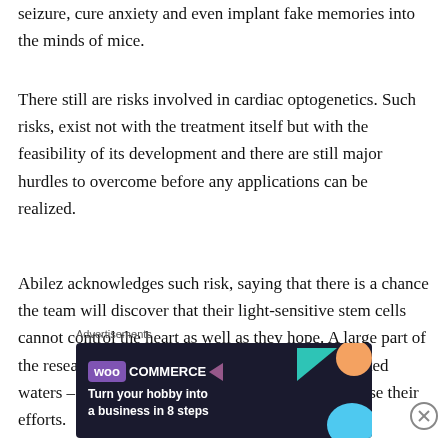seizure, cure anxiety and even implant fake memories into the minds of mice.
There still are risks involved in cardiac optogenetics. Such risks, exist not with the treatment itself but with the feasibility of its development and there are still major hurdles to overcome before any applications can be realized.
Abilez acknowledges such risk, saying that there is a chance the team will discover that their light-sensitive stem cells cannot control the heart as well as they hope. A large part of the research's difficulty is that the team is in uncharted waters – they have no prior research on which to base their efforts.
Advertisements
[Figure (other): WooCommerce advertisement banner: 'Turn your hobby into a business in 8 steps' on dark navy background with geometric shapes]